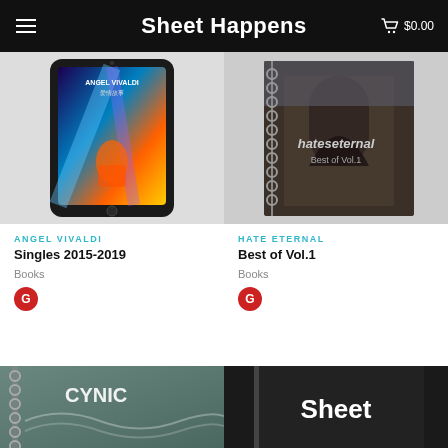Sheet Happens  $0.00
[Figure (photo): Tablet device displaying Angel Vivaldi album art with guitarist in colorful stage lighting]
ANGEL VIVALDI
Singles 2015-2019
Books
[Figure (photo): Spiral-bound sheet music book with Hate Eternal album art showing gothic stone building]
HATE ETERNAL
Best of Vol.1
Books
[Figure (photo): Partial view of Cynic spiral-bound sheet music book]
[Figure (photo): Partial view of Sheet Happens branded black book]